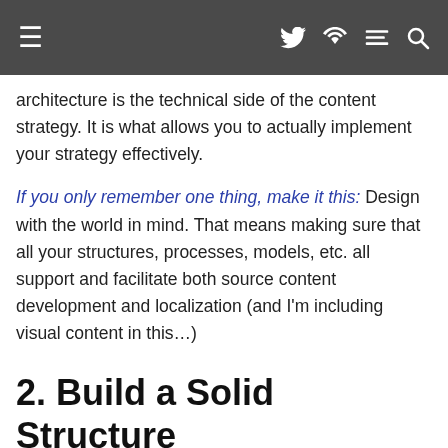≡  𝕏  G+  ⊃  🔍
architecture is the technical side of the content strategy. It is what allows you to actually implement your strategy effectively.
If you only remember one thing, make it this: Design with the world in mind. That means making sure that all your structures, processes, models, etc. all support and facilitate both source content development and localization (and I'm including visual content in this…)
2. Build a Solid Structure